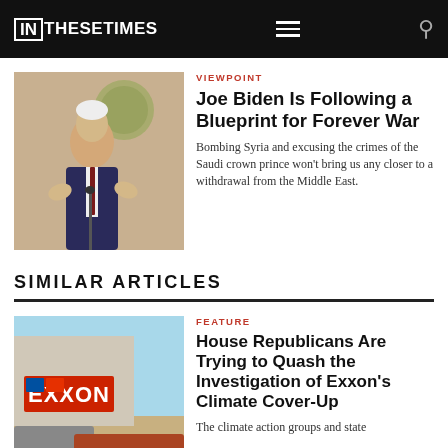IN THESE TIMES
VIEWPOINT
Joe Biden Is Following a Blueprint for Forever War
Bombing Syria and excusing the crimes of the Saudi crown prince won't bring us any closer to a withdrawal from the Middle East.
SIMILAR ARTICLES
FEATURE
House Republicans Are Trying to Quash the Investigation of Exxon's Climate Cover-Up
The climate action groups and state